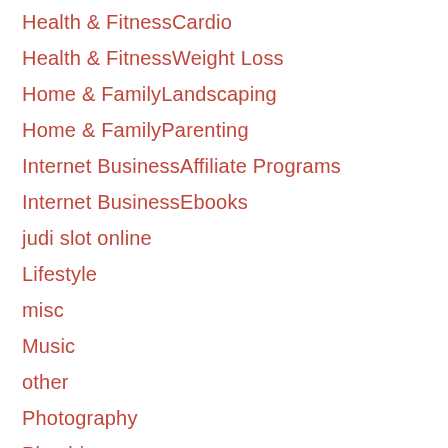Health & FitnessCardio
Health & FitnessWeight Loss
Home & FamilyLandscaping
Home & FamilyParenting
Internet BusinessAffiliate Programs
Internet BusinessEbooks
judi slot online
Lifestyle
misc
Music
other
Photography
Plumbing
Product ReviewsBook Reviews